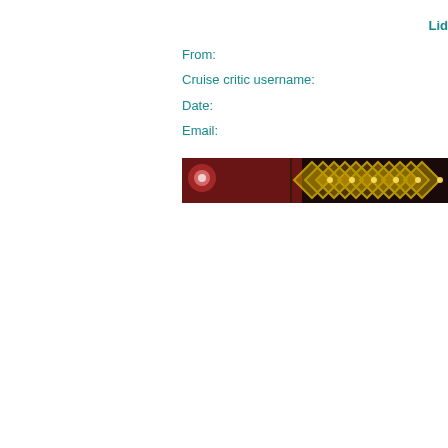Lid
From:
Cruise critic username:
Date:
Email:
[Figure (photo): A decorative photo strip showing a dark background with golden yellow diamond/lattice pattern, likely a decorative ceiling or architectural detail with lights.]